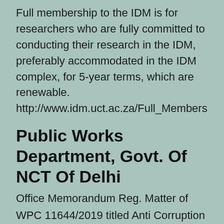Full membership to the IDM is for researchers who are fully committed to conducting their research in the IDM, preferably accommodated in the IDM complex, for 5-year terms, which are renewable.
http://www.idm.uct.ac.za/Full_Members
Public Works Department, Govt. Of NCT Of Delhi
Office Memorandum Reg. Matter of WPC 11644/2019 titled Anti Corruption Council of India vs H.O.D, Dte. of Estates & ANR: No.F.4(Allot)/T-V/Anti Corrpn vs HOD, D.O. Est & Anr/ 12330-35; Housing Allotment; 480: